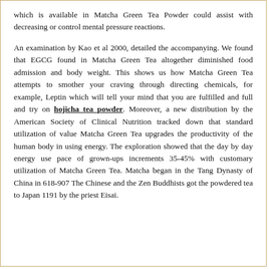which is available in Matcha Green Tea Powder could assist with decreasing or control mental pressure reactions.

An examination by Kao et al 2000, detailed the accompanying. We found that EGCG found in Matcha Green Tea altogether diminished food admission and body weight. This shows us how Matcha Green Tea attempts to smother your craving through directing chemicals, for example, Leptin which will tell your mind that you are fulfilled and full and try on hojicha tea powder. Moreover, a new distribution by the American Society of Clinical Nutrition tracked down that standard utilization of value Matcha Green Tea upgrades the productivity of the human body in using energy. The exploration showed that the day by day energy use pace of grown-ups increments 35-45% with customary utilization of Matcha Green Tea. Matcha began in the Tang Dynasty of China in 618-907 The Chinese and the Zen Buddhists got the powdered tea to Japan 1191 by the priest Eisai.